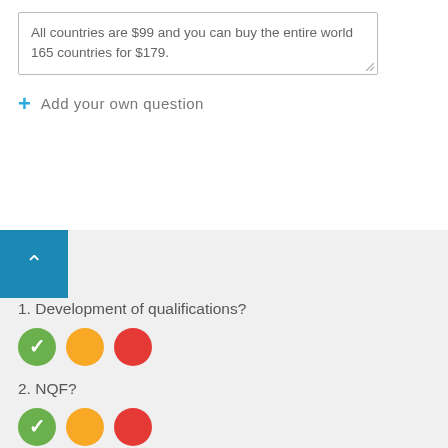All countries are $99 and you can buy the entire world 165 countries for $179.
+ Add your own question
1. Development of qualifications?
[Figure (infographic): Three colored circles: green with checkmark, orange, red]
2. NQF?
[Figure (infographic): Three colored circles: green with checkmark, orange, red]
3. Quality Assurance mechanisms?